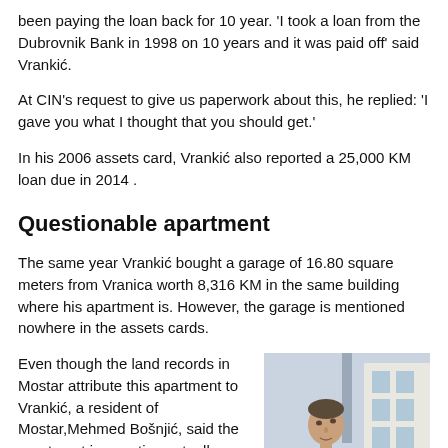been paying the loan back for 10 year. 'I took a loan from the Dubrovnik Bank in 1998 on 10 years and it was paid off' said Vrankić.
At CIN's request to give us paperwork about this, he replied: 'I gave you what I thought that you should get.'
In his 2006 assets card, Vrankić also reported a 25,000 KM loan due in 2014 .
Questionable apartment
The same year Vrankić bought a garage of 16.80 square meters from Vranica worth 8,316 KM in the same building where his apartment is. However, the garage is mentioned nowhere in the assets cards.
Even though the land records in Mostar attribute this apartment to Vrankić, a resident of Mostar,Mehmed Bošnjić, said the apartment in question actually belongs to him and not to the minister. Bošnjić received this apartment in May
[Figure (photo): A man in a light blue shirt looking upward, with a white building visible in the background. Outdoor setting.]